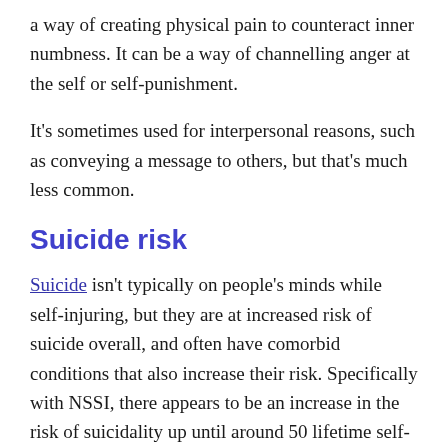a way of creating physical pain to counteract inner numbness. It can be a way of channelling anger at the self or self-punishment.
It's sometimes used for interpersonal reasons, such as conveying a message to others, but that's much less common.
Suicide risk
Suicide isn't typically on people's minds while self-injuring, but they are at increased risk of suicide overall, and often have comorbid conditions that also increase their risk. Specifically with NSSI, there appears to be an increase in the risk of suicidality up until around 50 lifetime self-injury episodes, at which point the risk levels off and then starts to drop closer to population norms.